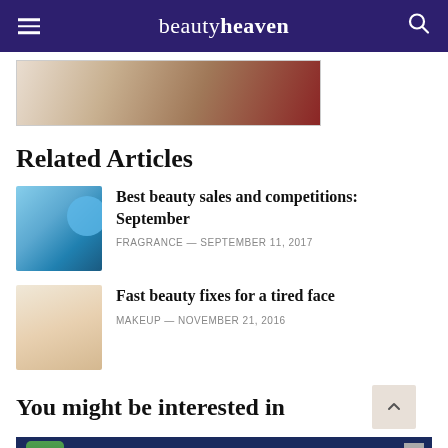beautyheaven
[Figure (photo): Lifestyle/beauty product hero image showing bottles and fabric/towel items]
Related Articles
Best beauty sales and competitions: September — FRAGRANCE — SEPTEMBER 11, 2017
Fast beauty fixes for a tired face — MAKEUP — NOVEMBER 21, 2016
You might be interested in
[Figure (photo): Advertisement banner: EXCLUSIVE deals with green bottle product]